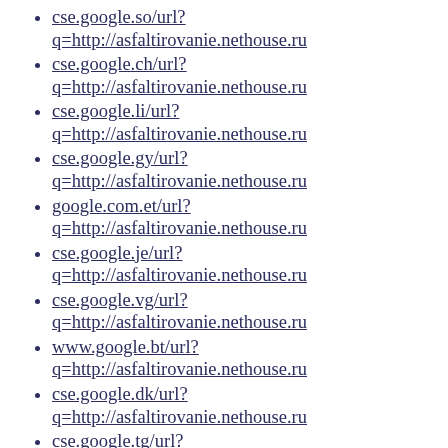cse.google.so/url?
q=http://asfaltirovanie.nethouse.ru
cse.google.ch/url?
q=http://asfaltirovanie.nethouse.ru
cse.google.li/url?
q=http://asfaltirovanie.nethouse.ru
cse.google.gy/url?
q=http://asfaltirovanie.nethouse.ru
google.com.et/url?
q=http://asfaltirovanie.nethouse.ru
cse.google.je/url?
q=http://asfaltirovanie.nethouse.ru
cse.google.vg/url?
q=http://asfaltirovanie.nethouse.ru
www.google.bt/url?
q=http://asfaltirovanie.nethouse.ru
cse.google.dk/url?
q=http://asfaltirovanie.nethouse.ru
cse.google.tg/url?